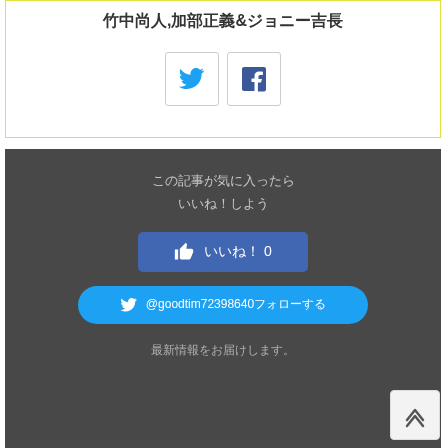竹中尚人,加部正義&ジョニー吉長
[Figure (infographic): Twitter and Facebook share icon buttons inside a yellow-bordered white card]
[Figure (infographic): Dark grey promo box with Japanese text 'この記事が気に入ったら いいね！しよう', a blue Facebook like button showing 0 likes, a blue Twitter follow button '@goodtim72398640フォローする', and text '最新情報をお届けします。']
StarlightCruisin(終了）
スポンサーリンク